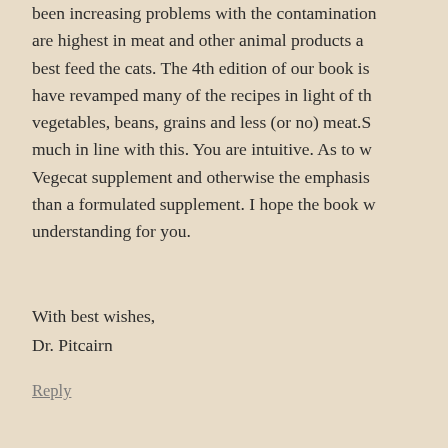been increasing problems with the contamination are highest in meat and other animal products and best feed the cats. The 4th edition of our book is have revamped many of the recipes in light of the vegetables, beans, grains and less (or no) meat. S much in line with this. You are intuitive. As to w Vegecat supplement and otherwise the emphasis is than a formulated supplement. I hope the book w understanding for you.
With best wishes,
Dr. Pitcairn
Reply
Paige says:
January 24, 2017 at 12:21 pm
I admit, as a vegetarian myself, feeding
All the best and I'll definitely pick up w